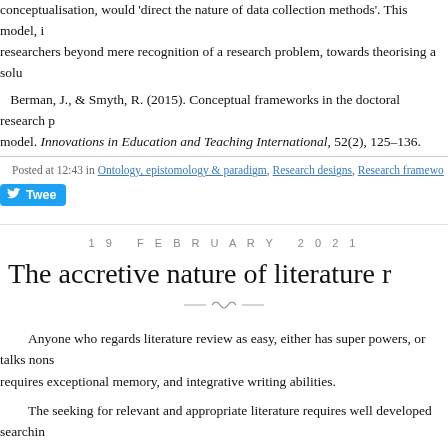conceptualisation, would 'direct the nature of data collection methods'. This model, it researchers beyond mere recognition of a research problem, towards theorising a solu
Berman, J., & Smyth, R. (2015). Conceptual frameworks in the doctoral research p model. Innovations in Education and Teaching International, 52(2), 125–136.
Posted at 12:43 in Ontology, epistomology & paradigm, Research designs, Research framewo
Tweet
19 FEBRUARY 2021
The accretive nature of literature r
Anyone who regards literature review as easy, either has super powers, or talks nons requires exceptional memory, and integrative writing abilities.
The seeking for relevant and appropriate literature requires well developed searchin precise search terminology. Having accumulated a collection of probable literature req endurance to synthesise.
Being impatient by nature, but with perceived frustratingly inadequate memory abil